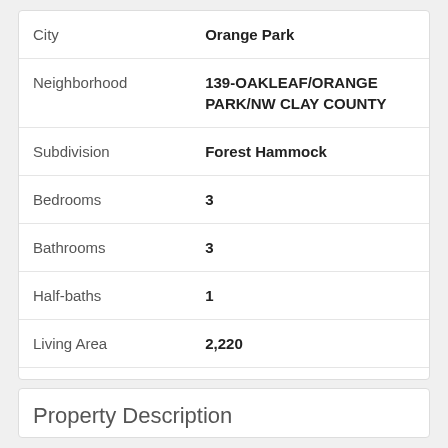| Field | Value |
| --- | --- |
| City | Orange Park |
| Neighborhood | 139-OAKLEAF/ORANGE PARK/NW CLAY COUNTY |
| Subdivision | Forest Hammock |
| Bedrooms | 3 |
| Bathrooms | 3 |
| Half-baths | 1 |
| Living Area | 2,220 |
| Lot Range | Less than .25 Acre |
Property Description